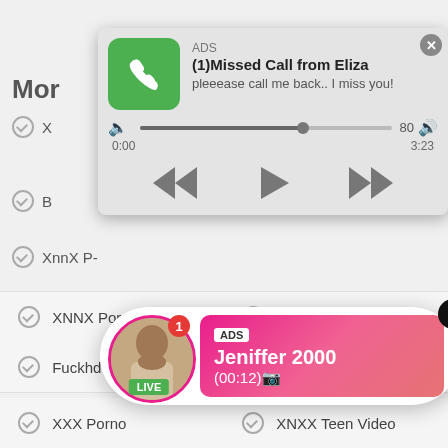Mor
[Figure (screenshot): Audio notification popup showing ADS - (1)Missed Call from Eliza, pleeease call me back.. I miss you! with audio player showing progress bar, time 0:00 to 3:23, and media controls]
X
B
XnnX P-
AnsFi
[Figure (screenshot): Live notification popup showing a woman's avatar with LIVE badge and notification badge showing 1, with ADS label, name Jeniffer 2000, and time (00:12)]
K
rexporn.vip
sexcollegeamateur
XNNX Porn Tube
AnySex
Fuckhd
bbwxnxx.it
XXX Porno
XNXX Teen Video